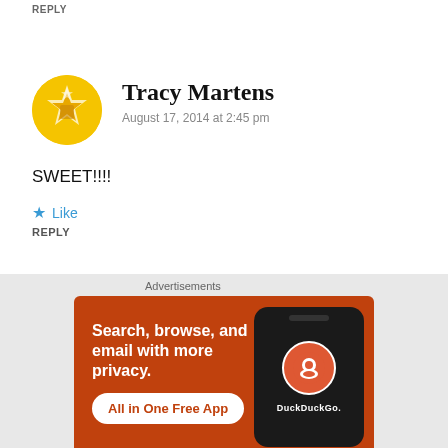REPLY
Tracy Martens
August 17, 2014 at 2:45 pm
SWEET!!!!
Like
REPLY
[Figure (illustration): DuckDuckGo advertisement banner with orange background showing phone and text: Search, browse, and email with more privacy. All in One Free App.]
Advertisements